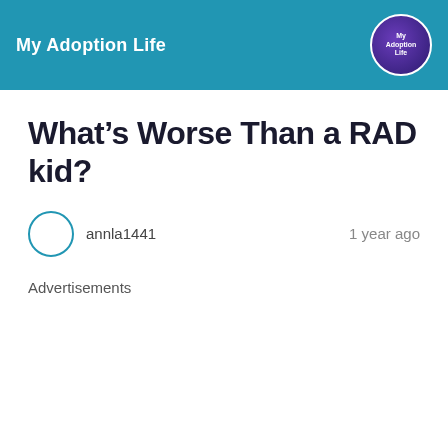My Adoption Life
What's Worse Than a RAD kid?
annla1441   1 year ago
Advertisements